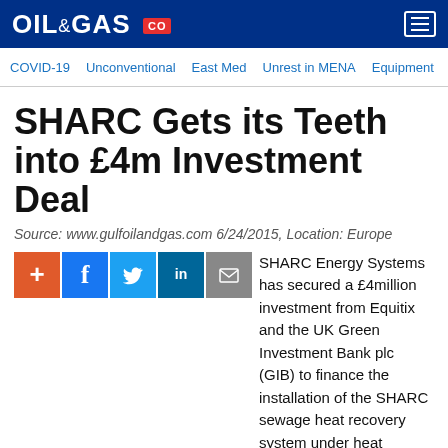OIL & GAS
COVID-19 | Unconventional | East Med | Unrest in MENA | Equipment
SHARC Gets its Teeth into £4m Investment Deal
Source: www.gulfoilandgas.com 6/24/2015, Location: Europe
SHARC Energy Systems has secured a £4million investment from Equitix and the UK Green Investment Bank plc (GIB) to finance the installation of the SHARC sewage heat recovery system under heat purchase agreements.
The Equitix managed fund Energy Saving Investments (ESI), in which GIB is a cornerstone investor, is investing £2m in the programme and an additional £2m of private sector capital has